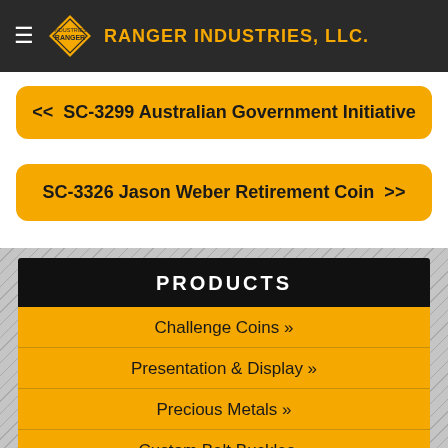RANGER INDUSTRIES, LLC.
<< SC-3299 Australian Government Initiative
SC-3326 Jason Weber Retirement Coin >>
PRODUCTS
Challenge Coins »
Presentation & Display »
Precious Metals »
Custom Belt Buckles »
Pendants »
Badges »